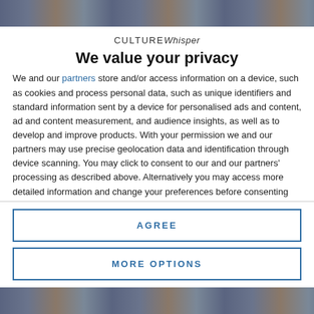[Figure (photo): Top portion of a background photograph showing people, partially obscured]
We value your privacy
We and our partners store and/or access information on a device, such as cookies and process personal data, such as unique identifiers and standard information sent by a device for personalised ads and content, ad and content measurement, and audience insights, as well as to develop and improve products. With your permission we and our partners may use precise geolocation data and identification through device scanning. You may click to consent to our and our partners' processing as described above. Alternatively you may access more detailed information and change your preferences before consenting or to refuse consenting.
AGREE
MORE OPTIONS
[Figure (photo): Bottom portion of a background photograph showing people, partially obscured]